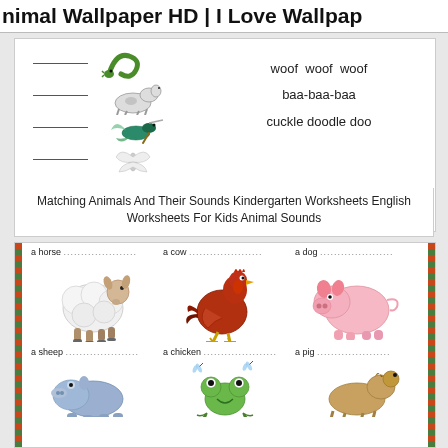Animal Wallpaper HD | I Love Wallpap...
[Figure (illustration): Matching Animals And Their Sounds worksheet showing animal images (snake, horse, hummingbird, unknown) on left with blank lines, and sounds (woof woof woof, baa-baa-baa, cuckle doodle doo) on right]
Matching Animals And Their Sounds Kindergarten Worksheets English Worksheets For Kids Animal Sounds
[Figure (illustration): Farm animal worksheet with labels: a horse, a cow, a dog (top row showing sheep, chicken/rooster, pig images), a sheep, a chicken, a pig (bottom row showing hippo, frog, horse images)]